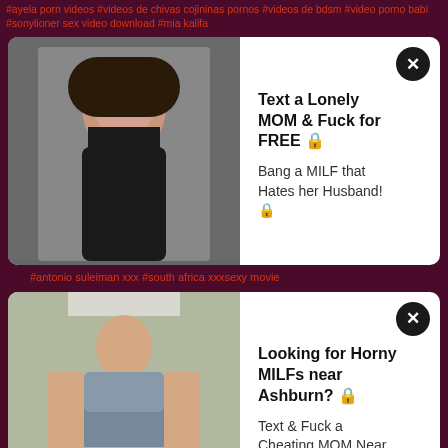#ayela porn videos #videos de chivas cojininas pornos #videos de bdsm #video porno babi #sonylioner sex video download #mia kalifa
[Figure (photo): Ad card with photo of dark-haired woman in black top. Text: 'Text a Lonely MOM & Fuck for FREE' / 'Bang a MILF that Hates her Husband!']
#antonio suleiman xxx #south africa xxxsexy movie
[Figure (photo): Ad card with photo of woman in jeans sitting in chair. Text: 'Looking for Horny MILFs near Ashburn?' / 'Text & Fuck a Cheating MOM Near You']